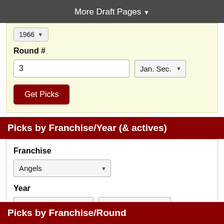More Draft Pages ▼
1966 (dropdown)
Round #
3 (text input), Jan. Sec. (dropdown)
Get Picks (button)
Picks by Franchise/Year (& actives)
Franchise
Angels (dropdown)
Year
1968 (dropdown), Jan. Sec. (dropdown)
Get Picks (button)
Picks by Franchise/Round